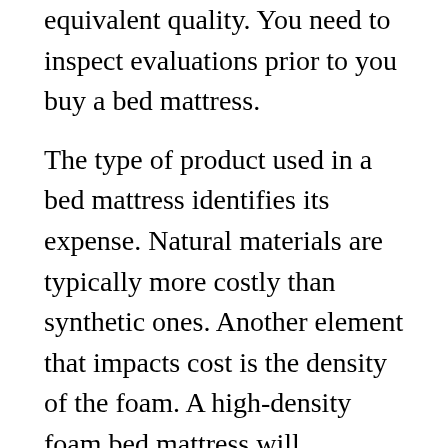equivalent quality. You need to inspect evaluations prior to you buy a bed mattress.
The type of product used in a bed mattress identifies its expense. Natural materials are typically more costly than synthetic ones. Another element that impacts cost is the density of the foam. A high-density foam bed mattress will typically cost more than a lower density foam one. The size of the mattress also impacts price. A queen-sized mattress will cost twice as much as a twin bed mattress. So, it is important to know the measurements of your bed before you buy a bed mattress.